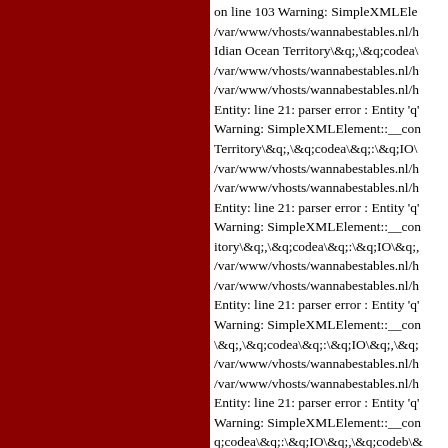on line 103 Warning: SimpleXMLElement:: /var/www/vhosts/wannabestables.nl/h Idian Ocean Territory\&q;,\&q;codea\ /var/www/vhosts/wannabestables.nl/h /var/www/vhosts/wannabestables.nl/h Entity: line 21: parser error : Entity 'q' Warning: SimpleXMLElement::__con Territory\&q;,\&q;codea\&q;:\&q;IO\ /var/www/vhosts/wannabestables.nl/h /var/www/vhosts/wannabestables.nl/h Entity: line 21: parser error : Entity 'q' Warning: SimpleXMLElement::__con itory\&q;,\&q;codea\&q;:\&q;IO\&q;, /var/www/vhosts/wannabestables.nl/h /var/www/vhosts/wannabestables.nl/h Entity: line 21: parser error : Entity 'q' Warning: SimpleXMLElement::__con \&q;,\&q;codea\&q;:\&q;IO\&q;,\&q; /var/www/vhosts/wannabestables.nl/h /var/www/vhosts/wannabestables.nl/h Entity: line 21: parser error : Entity 'q' Warning: SimpleXMLElement::__con q;codea\&q;:\&q;IO\&q;,\&q;codeb\& /var/www/vhosts/wannabestables.nl/h /var/www/vhosts/wannabestables.nl/h